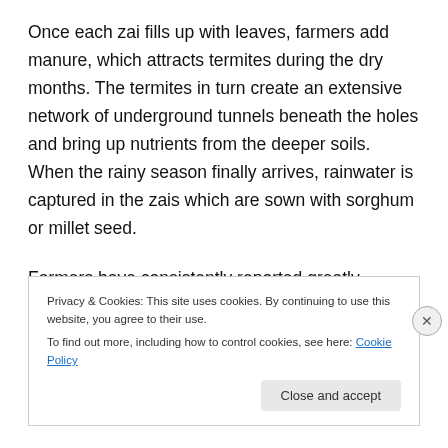Once each zai fills up with leaves, farmers add manure, which attracts termites during the dry months. The termites in turn create an extensive network of underground tunnels beneath the holes and bring up nutrients from the deeper soils. When the rainy season finally arrives, rainwater is captured in the zais which are sown with sorghum or millet seed.
Farmers have consistently reported greatly increased yields using this technique. A key factor in the spread of
Privacy & Cookies: This site uses cookies. By continuing to use this website, you agree to their use.
To find out more, including how to control cookies, see here: Cookie Policy